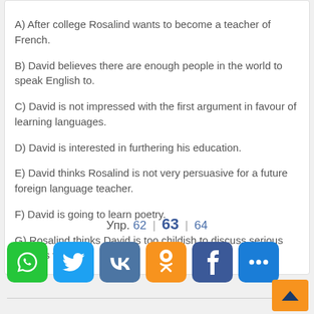A) After college Rosalind wants to become a teacher of French.
B) David believes there are enough people in the world to speak English to.
C) David is not impressed with the first argument in favour of learning languages.
D) David is interested in furthering his education.
E) David thinks Rosalind is not very persuasive for a future foreign language teacher.
F) David is going to learn poetry.
G) Rosalind thinks David is too childish to discuss serious matters with.
Упр. 62 | 63 | 64
[Figure (other): Social share buttons: WhatsApp, Twitter, VK, Odnoklassniki, Facebook, More]
Back to top button